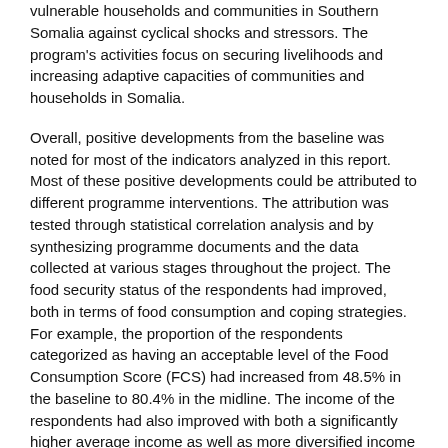vulnerable households and communities in Southern Somalia against cyclical shocks and stressors. The program's activities focus on securing livelihoods and increasing adaptive capacities of communities and households in Somalia.
Overall, positive developments from the baseline was noted for most of the indicators analyzed in this report. Most of these positive developments could be attributed to different programme interventions. The attribution was tested through statistical correlation analysis and by synthesizing programme documents and the data collected at various stages throughout the project. The food security status of the respondents had improved, both in terms of food consumption and coping strategies. For example, the proportion of the respondents categorized as having an acceptable level of the Food Consumption Score (FCS) had increased from 48.5% in the baseline to 80.4% in the midline. The income of the respondents had also improved with both a significantly higher average income as well as more diversified income being reported. Those respondents that were part of a savings scheme as well as those that had received cash distributions through Cash for Work (CfW) or Unconditional Cash Transfers (UCT) reported higher FCS than those that had not. Research data that looked